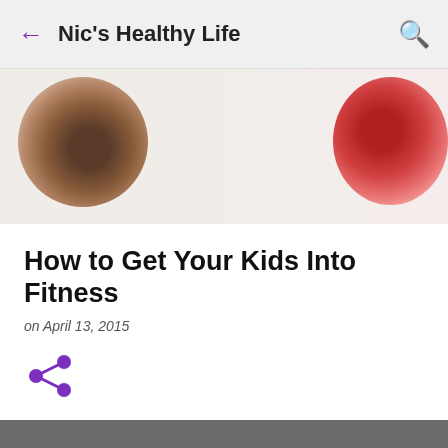← Nic's Healthy Life 🔍
[Figure (photo): Blurred close-up photo of a child's head on the left and a red fruit on the right, serving as a hero image for the blog post.]
How to Get Your Kids Into Fitness
on April 13, 2015
[Figure (other): Share icon (three connected dots forming a share symbol) in purple]
This site uses cookies from Google to deliver its services and to analyze traffic. Your IP address and user-agent are shared with Google along with performance and security metrics to ensure quality of service, generate usage statistics, and to detect and address abuse.
LEARN MORE   OK